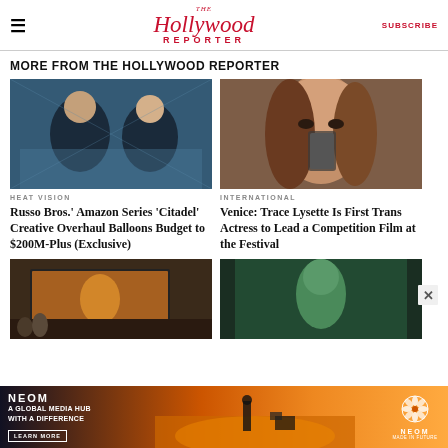The Hollywood Reporter | SUBSCRIBE
MORE FROM THE HOLLYWOOD REPORTER
[Figure (photo): Two men seated on a couch during an interview, blue background]
HEAT VISION
Russo Bros.' Amazon Series 'Citadel' Creative Overhaul Balloons Budget to $200M-Plus (Exclusive)
[Figure (photo): Close-up of a woman with long brown hair holding a phone to her face]
INTERNATIONAL
Venice: Trace Lysette Is First Trans Actress to Lead a Competition Film at the Festival
[Figure (photo): Interior scene with large television showing Venice Film Festival logo]
[Figure (photo): She-Hulk character in a dark scene]
[Figure (photo): NEOM advertisement - A Global Media Hub With A Difference, Learn More]